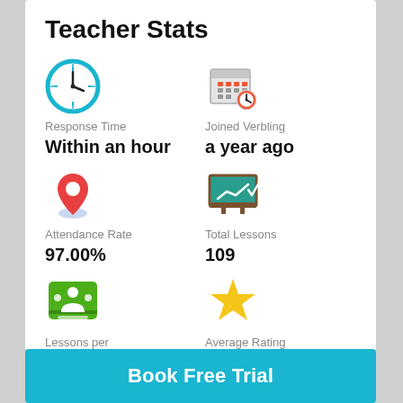Teacher Stats
Response Time
Within an hour
Joined Verbling
a year ago
Attendance Rate
97.00%
Total Lessons
109
Lessons per Student
10.4 lesson
Average Rating
4.8
Book Free Trial